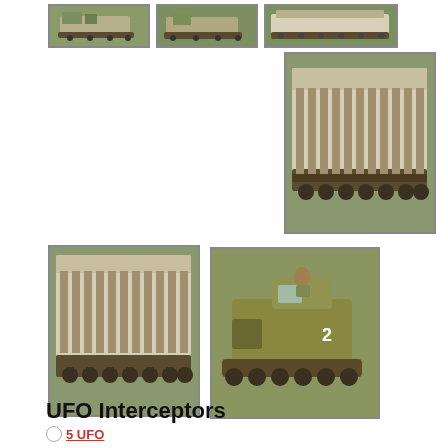[Figure (photo): Three small thumbnail photos of military vehicle scale models on grass — top row, left to right: tracked vehicle side view, another tracked vehicle side view, a long tracked platform.]
[Figure (photo): Large photo of a long flat tracked vehicle model (missile launcher or transport) viewed from the side, on grass background.]
[Figure (photo): Two photos side by side — left: same long tracked platform model from slightly different angle; right: olive-green armored tracked vehicle model with number 2 marking.]
UFO Interceptors
5 UFO